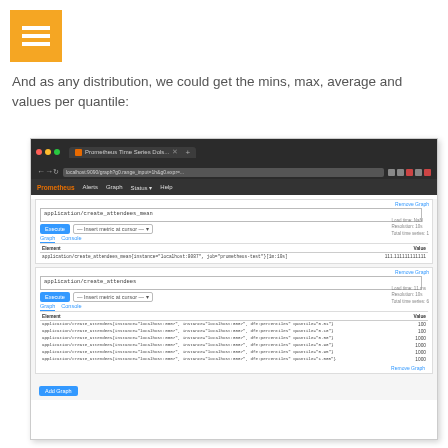[Figure (logo): Orange square logo with three horizontal white lines (hamburger menu icon)]
And as any distribution, we could get the mins, max, average and values per quantile:
[Figure (screenshot): Screenshot of Prometheus Time Series database UI showing two query blocks. First query: 'application/create_attendees_mean' with a result table showing Element and Value columns with one row of data. Second query: 'application/create_attendees' with a result table showing multiple rows with quantile labels (0.01, 0.10, 0.50, 0.90, 0.95, 1.00) and corresponding values (100, 100, 1000, 1000, 1000, 1000). An 'Add Graph' button appears at the bottom.]